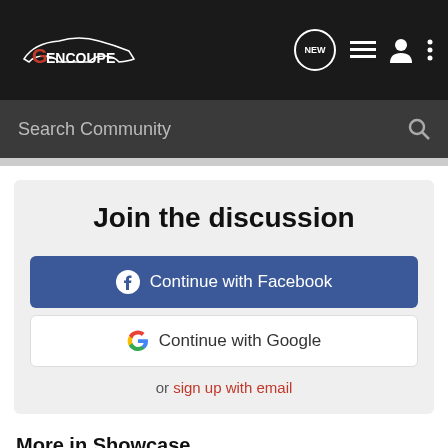GENCOUPE — navigation bar with logo, NEW chat icon, list icon, user icon, menu icon
Search Community
Join the discussion
Continue with Facebook
Continue with Google
or sign up with email
More in Showcase
Genesis Coupe 2010 2.0t Premium